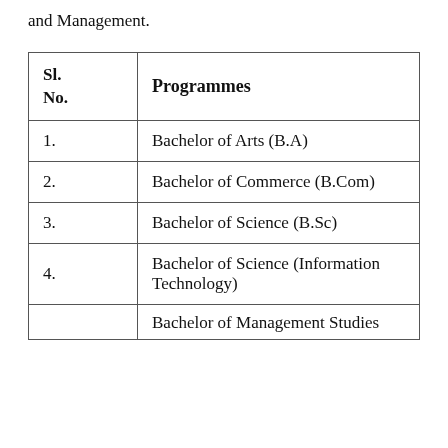and Management.
| Sl. No. | Programmes |
| --- | --- |
| 1. | Bachelor of Arts (B.A) |
| 2. | Bachelor of Commerce (B.Com) |
| 3. | Bachelor of Science (B.Sc) |
| 4. | Bachelor of Science (Information Technology) |
| 5. | Bachelor of Management Studies |